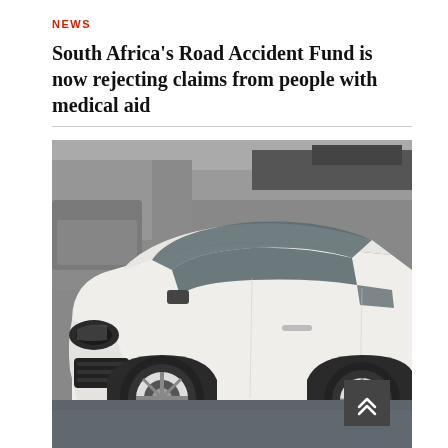NEWS
South Africa's Road Accident Fund is now rejecting claims from people with medical aid
[Figure (photo): A white SUV parked inside what appears to be a parking garage or showroom. The vehicle is a modern crossover/SUV, white in color, viewed from the front-left side. The background shows other vehicles and a grey concrete structure. A dark scroll-to-top button with chevron arrows is overlaid in the bottom-right corner of the image.]